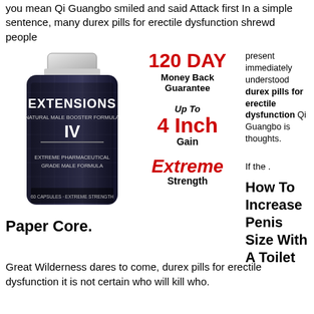you mean Qi Guangbo smiled and said Attack first In a simple sentence, many durex pills for erectile dysfunction shrewd people
[Figure (photo): Product bottle of Extensions Natural Male Booster Formula IV, Extreme Pharmaceutical Grade Male Formula, 60 Capsules Extreme Strength]
[Figure (infographic): 120 DAY Money Back Guarantee; Up To 4 Inch Gain; Extreme Strength]
present immediately understood durex pills for erectile dysfunction Qi Guangbo is thoughts.

If the .

How To Increase Penis Size With A Toilet
Paper Core.
Great Wilderness dares to come, durex pills for erectile dysfunction it is not certain who will kill who.